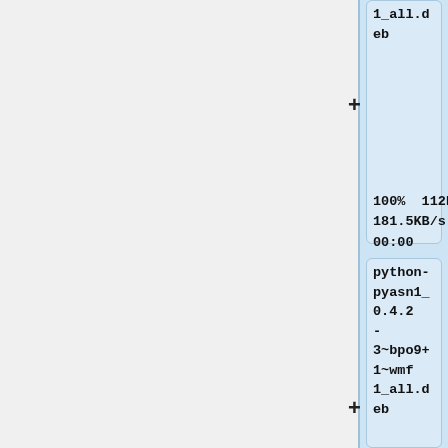[Figure (screenshot): Terminal/package manager output showing two package download entries. Top entry shows '1_all.deb' filename (partial), download stats: 100% 112KB, 181.5KB/s, 00:00. Bottom entry shows 'python-pyasn1_0.4.2-3~bpo9+1~wmf1_all.deb' with a progress indicator '+' and stats: 100%, 56KB.]